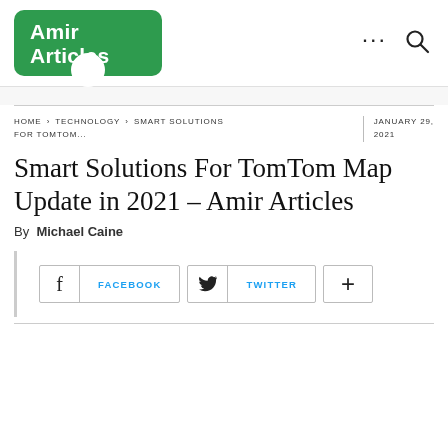[Figure (logo): Amir Articles logo — green rounded rectangle with white bold text 'Amir Articles' and a white circle at the bottom]
HOME › TECHNOLOGY › SMART SOLUTIONS FOR TOMTOM...   JANUARY 29, 2021
Smart Solutions For TomTom Map Update in 2021 – Amir Articles
By Michael Caine
FACEBOOK   TWITTER   +